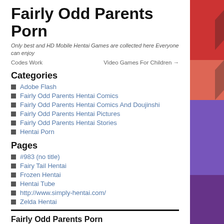Fairly Odd Parents Porn
Only best and HD Mobile Hentai Games are collected here Everyone can enjoy
Codes Work    Video Games For Children →
Categories
Adobe Flash
Fairly Odd Parents Hentai Comics
Fairly Odd Parents Hentai Comics And Doujinshi
Fairly Odd Parents Hentai Pictures
Fairly Odd Parents Hentai Stories
Hentai Porn
Pages
#983 (no title)
Fairy Tail Hentai
Frozen Hentai
Hentai Tube
http://www.simply-hentai.com/
Zelda Hentai
Fairly Odd Parents Porn
Proudly powered by WordPress.